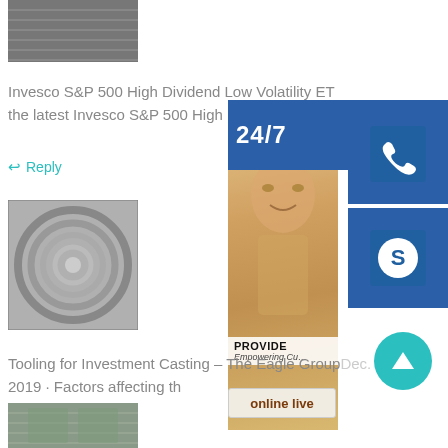[Figure (photo): Photo of metallic/industrial material, partial view at top]
Invesco S&P 500 High Dividend Low Volatility ET… the latest Invesco S&P 500 High Dividen…
↩ Reply
[Figure (photo): Photo of coiled metal strip/roll]
[Figure (infographic): 24/7 customer support sidebar with headset icon, phone icon, Skype icon, woman photo, PROVIDE Empowering Customers text, online live button]
Tooling for Investment Casting – The Eagle GroupDec. 18, 2019 · Factors affecting th
↩ Reply
[Figure (photo): Photo of industrial space/factory floor, partial view at bottom]